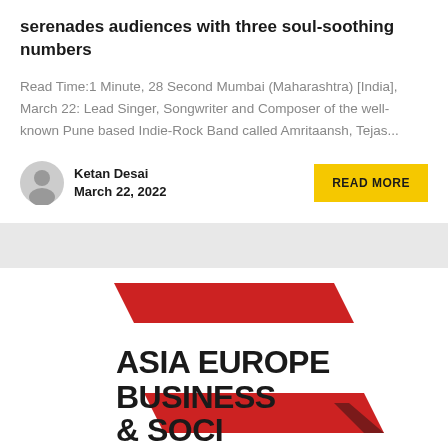serenades audiences with three soul-soothing numbers
Read Time:1 Minute, 28 Second Mumbai (Maharashtra) [India], March 22: Lead Singer, Songwriter and Composer of the well-known Pune based Indie-Rock Band called Amritaansh, Tejas...
Ketan Desai
March 22, 2022
[Figure (logo): Asia Europe Business & Social logo with red diagonal arrow/chevron shape and bold black text]